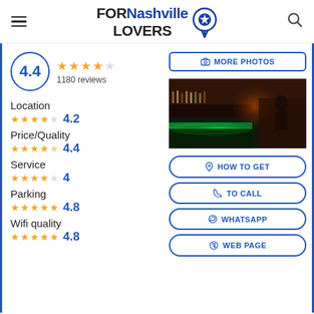FORNashville LOVERS
4.4 — 1180 reviews
Location 4.2
Price/Quality 4.4
Service 4
Parking 4.8
Wifi quality 4.8
[Figure (photo): Bar interior with green neon lighting under the bar counter, bottles on shelves, bartender in background]
MORE PHOTOS
HOW TO GET
TO CALL
WHATSAPP
WEB PAGE